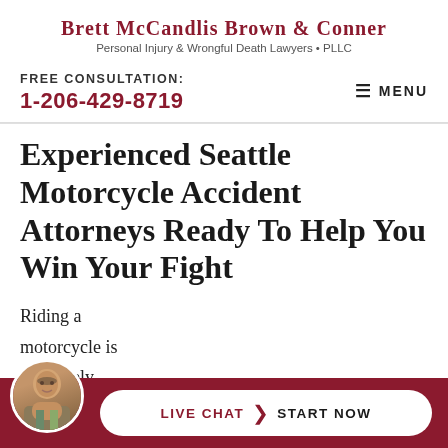Brett McCandlis Brown & Conner
Personal Injury & Wrongful Death Lawyers • PLLC
FREE CONSULTATION:
1-206-429-8719
Experienced Seattle Motorcycle Accident Attorneys Ready To Help You Win Your Fight
Riding a motorcycle is absolutely invigorating, especial
[Figure (photo): Circular avatar photo of an older man in a suit, smiling, set against a green background]
LIVE CHAT  START NOW